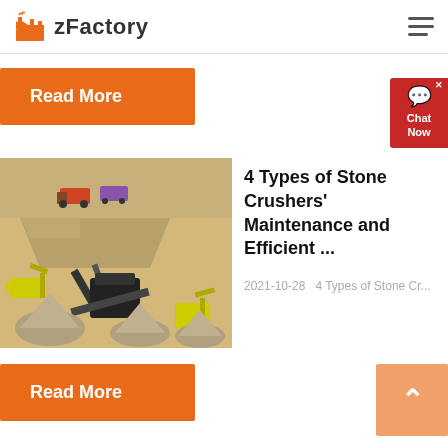zFactory
Read More
[Figure (illustration): Isometric illustration of a stone crusher mining facility with trucks, conveyor belts, crushers, and excavators.]
4 Types of Stone Crushers' Maintenance and Efficient ...
2021-10-28   4 Types of Stone Cr...
Read More